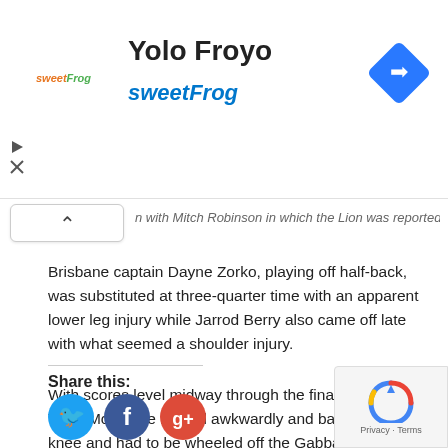[Figure (infographic): Yolo Froyo sweetFrog advertisement banner with logo, title, subtitle, and navigation icon]
n with Mitch Robinson in which the Lion was reported.
Brisbane captain Dayne Zorko, playing off half-back, was substituted at three-quarter time with an apparent lower leg injury while Jarrod Berry also came off late with what seemed a shoulder injury.
With scores level midway through the final term, Port's Trent McKenzie landed awkwardly and badly jarred his knee and had to be wheeled off the Gabba in the buggy.
Brisbane had new face Darcy Fort to thank for their early lead, the Geelong pick-up booting both their first-quarter goals in a perfect introduction in front of 25,100 fans.
Share this:
[Figure (infographic): Social share icons: Twitter, Facebook, Google+]
[Figure (infographic): reCAPTCHA privacy overlay with logo and Privacy/Terms text]